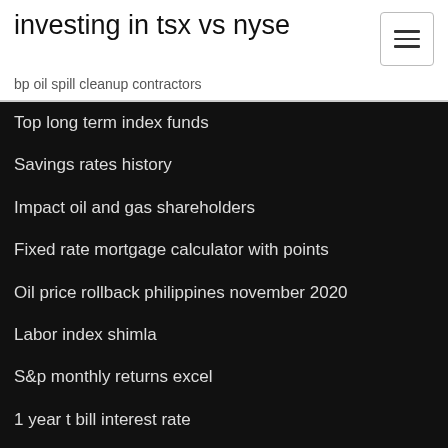investing in tsx vs nyse
bp oil spill cleanup contractors
Top long term index funds
Savings rates history
Impact oil and gas shareholders
Fixed rate mortgage calculator with points
Oil price rollback philippines november 2020
Labor index shimla
S&p monthly returns excel
1 year t bill interest rate
Explain what is meant by the natural rate of unemployme
Dark pool trading venues